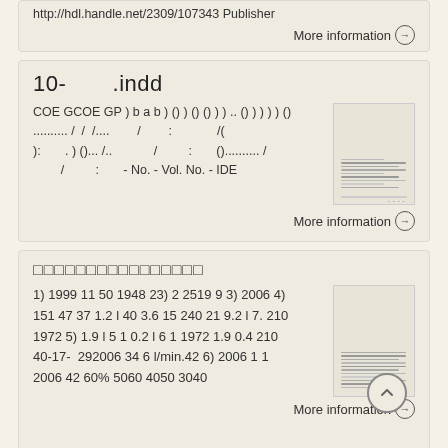http://hdl.handle.net/2309/107343 Publisher
More information →
10- .indd
COE GCOE GP ) b a b ) () ) () () ) ) .. () ) ) ) ) () .......... / / /.... / : /( ): . ) ()... /.. / : ()......... / / : - No. - Vol. No. - IDE
More information →
□□□□□□□□□□□□□□□□
1) 1999 11 50 1948 23) 2 2519 9 3) 2006 4) 151 47 37 1.2 l 40 3.6 15 240 21 9.2 l 7. 210 1972 5) 1.9 l 5 1 0.2 l 6 1 1972 1.9 0.4 210 40-17- 292006 34 6 l/min.42 6) 2006 1 1 2006 42 60% 5060 4050 3040
More information →